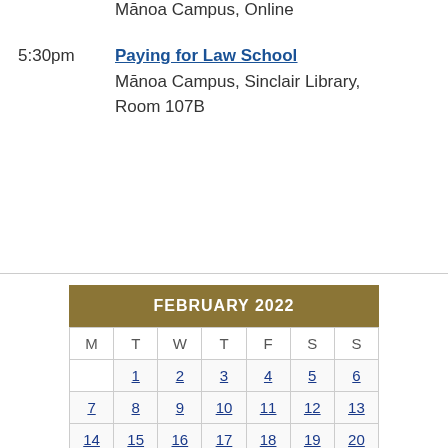Mānoa Campus, Online
5:30pm  Paying for Law School
Mānoa Campus, Sinclair Library, Room 107B
| M | T | W | T | F | S | S |
| --- | --- | --- | --- | --- | --- | --- |
|  | 1 | 2 | 3 | 4 | 5 | 6 |
| 7 | 8 | 9 | 10 | 11 | 12 | 13 |
| 14 | 15 | 16 | 17 | 18 | 19 | 20 |